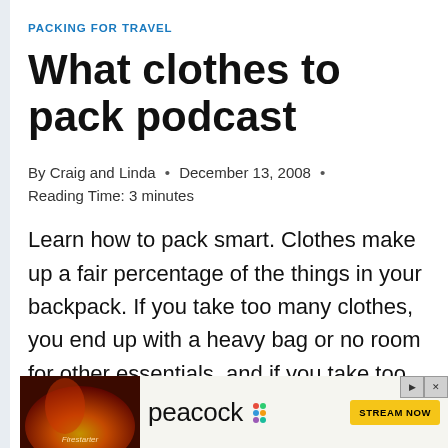PACKING FOR TRAVEL
What clothes to pack podcast
By Craig and Linda  •  December 13, 2008  •  Reading Time: 3 minutes
Learn how to pack smart. Clothes make up a fair percentage of the things in your backpack. If you take too many clothes, you end up with a heavy bag or no room for other essentials, and if you take too few clothes – well, let's not
[Figure (screenshot): Peacock streaming service advertisement banner with Firestarter movie image on left and 'peacock STREAM NOW' on right with yellow button]